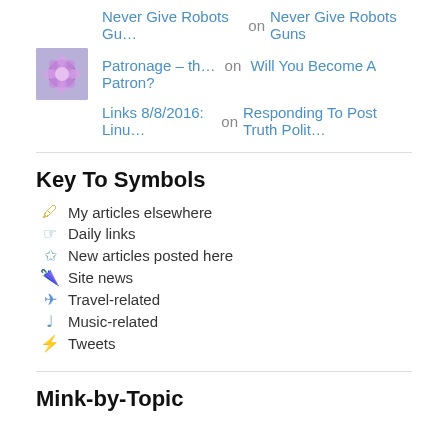Never Give Robots Gu… on Never Give Robots Guns
Patronage – th… on Will You Become A Patron?
Links 8/8/2016: Linu… on Responding To Post Truth Polit…
Key To Symbols
🖊 My articles elsewhere
☞ Daily links
✩ New articles posted here
☂ Site news
✈ Travel-related
♩ Music-related
⚡ Tweets
Mink-by-Topic